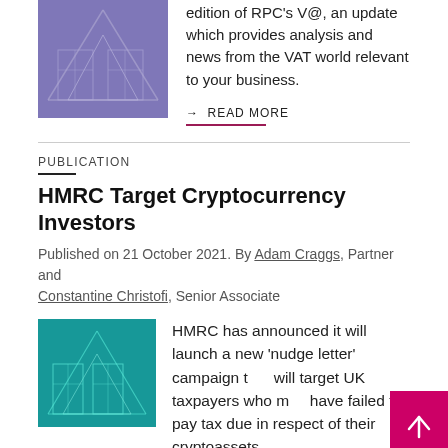[Figure (photo): Purple-tinted architectural geometric illustration]
edition of RPC's V@, an update which provides analysis and news from the VAT world relevant to your business.
→ READ MORE
PUBLICATION
HMRC Target Cryptocurrency Investors
Published on 21 October 2021. By Adam Craggs, Partner and Constantine Christofi, Senior Associate
[Figure (illustration): Teal/green wireframe building illustration]
HMRC has announced it will launch a new 'nudge letter' campaign that will target UK taxpayers who may have failed to pay tax due in respect of their cryptoassets.